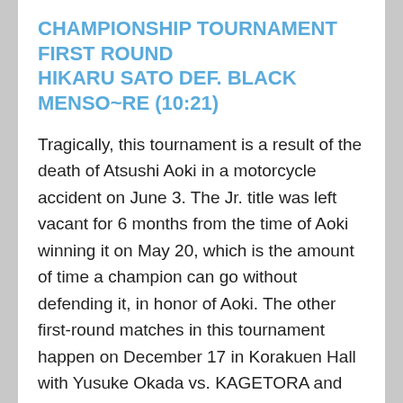CHAMPIONSHIP TOURNAMENT FIRST ROUND
HIKARU SATO DEF. BLACK MENSO~RE (10:21)
Tragically, this tournament is a result of the death of Atsushi Aoki in a motorcycle accident on June 3. The Jr. title was left vacant for 6 months from the time of Aoki winning it on May 20, which is the amount of time a champion can go without defending it, in honor of Aoki. The other first-round matches in this tournament happen on December 17 in Korakuen Hall with Yusuke Okada vs. KAGETORA and Atsushi Maruyama vs. Susumu Yokosuka